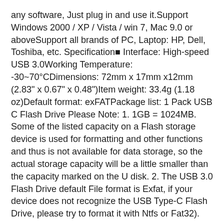any software, Just plug in and use it.Support Windows 2000 / XP / Vista / win 7, Mac 9.0 or aboveSupport all brands of PC, Laptop: HP, Dell, Toshiba, etc. Specification■ Interface: High-speed USB 3.0Working Temperature: -30~70°CDimensions: 72mm x 17mm x12mm (2.83" x 0.67" x 0.48")Item weight: 33.4g (1.18 oz)Default format: exFATPackage list: 1 Pack USB C Flash Drive Please Note: 1. 1GB = 1024MB. Some of the listed capacity on a Flash storage device is used for formatting and other functions and thus is not available for data storage, so the actual storage capacity will be a little smaller than the capacity marked on the U disk. 2. The USB 3.0 Flash Drive default File format is Exfat, if your device does not recognize the USB Type-C Flash Drive, please try to format it with Ntfs or Fat32).
Product Details
Brand: DIDIVO